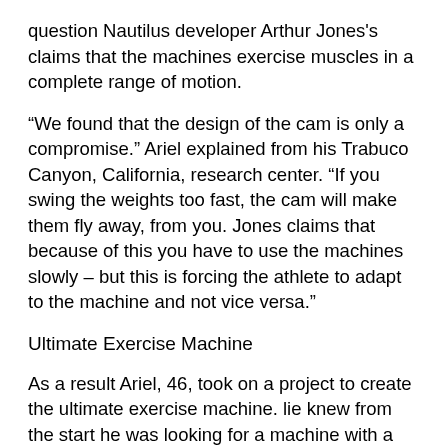question Nautilus developer Arthur Jones's claims that the machines exercise muscles in a complete range of motion.
“We found that the design of the cam is only a compromise.” Ariel explained from his Trabuco Canyon, California, research center. “If you swing the weights too fast, the cam will make them fly away, from you. Jones claims that because of this you have to use the machines slowly – but this is forcing the athlete to adapt to the machine and not vice versa.”
Ultimate Exercise Machine
As a result Ariel, 46, took on a project to create the ultimate exercise machine. lie knew from the start he was looking for a machine with a computerized brain that would adapt to each athlete’s body form and range of motion instead of forcing the trainee to change style to fit the device.
lie also knew that instant feedback would be a necessity and decided to incorporate a video monitor into the apparatus. Perhaps most importantly, he designed the